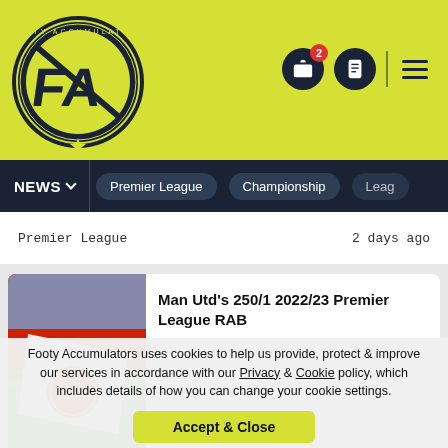[Figure (logo): Footy Accumulators logo - circular badge with FA initials on yellow background]
NEWS | Premier League | Championship | Leag
Premier League    2 days ago
[Figure (photo): Manchester United flag/scarf at Old Trafford stadium]
Man Utd's 250/1 2022/23 Premier League RAB
Premier League    2 days ago
[Figure (photo): Cloudy sky photo]
5 Championship Tips - 20/8/22
Footy Accumulators uses cookies to help us provide, protect & improve our services in accordance with our Privacy & Cookie policy, which includes details of how you can change your cookie settings.
Accept & Close